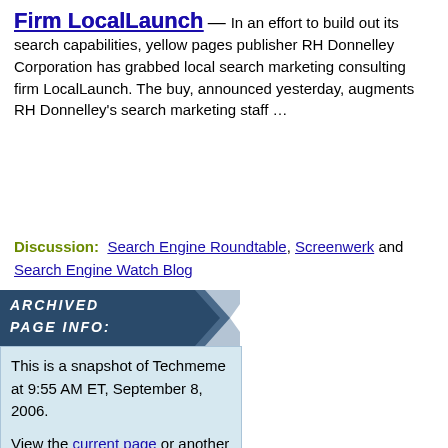Firm LocalLaunch
— In an effort to build out its search capabilities, yellow pages publisher RH Donnelley Corporation has grabbed local search marketing consulting firm LocalLaunch. The buy, announced yesterday, augments RH Donnelley's search marketing staff …
Discussion: Search Engine Roundtable, Screenwerk and Search Engine Watch Blog
ARCHIVED PAGE INFO:
This is a snapshot of Techmeme at 9:55 AM ET, September 8, 2006.
View the current page or another snapshot:
Page version:
September 8, 2006, 9:55 AM
Go